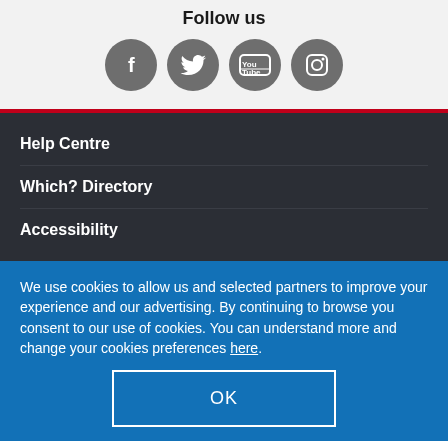Follow us
[Figure (illustration): Four social media icons in dark grey circles: Facebook (f), Twitter (bird), YouTube (You/Tube), Instagram (camera)]
Help Centre
Which? Directory
Accessibility
We use cookies to allow us and selected partners to improve your experience and our advertising. By continuing to browse you consent to our use of cookies. You can understand more and change your cookies preferences here.